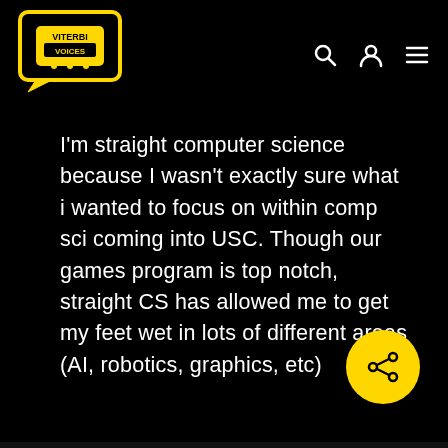Viterbi Voices
I'm straight computer science because I wasn't exactly sure what i wanted to focus on within comp sci coming into USC. Though our games program is top notch, straight CS has allowed me to get my feet wet in lots of different areas (AI, robotics, graphics, etc)